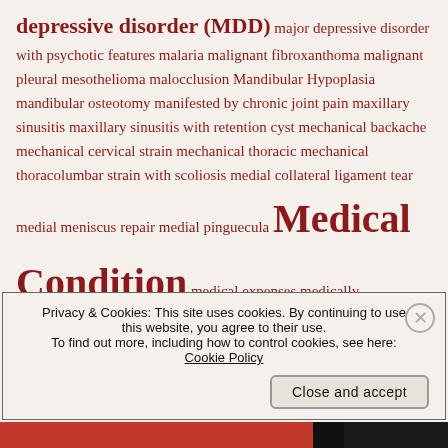depressive disorder (MDD) major depressive disorder with psychotic features malaria malignant fibroxanthoma malignant pleural mesothelioma malocclusion Mandibular Hypoplasia mandibular osteotomy manifested by chronic joint pain maxillary sinusitis maxillary sinusitis with retention cyst mechanical backache mechanical cervical strain mechanical thoracic mechanical thoracolumbar strain with scoliosis medial collateral ligament tear medial meniscus repair medial pinguecula Medical Condition medical expenses medically unexplained chronic multisymptom illness medical meniscus degeneration of the left knee medical meniscus degeneration of the right knee medications
Privacy & Cookies: This site uses cookies. By continuing to use this website, you agree to their use. To find out more, including how to control cookies, see here: Cookie Policy
Close and accept